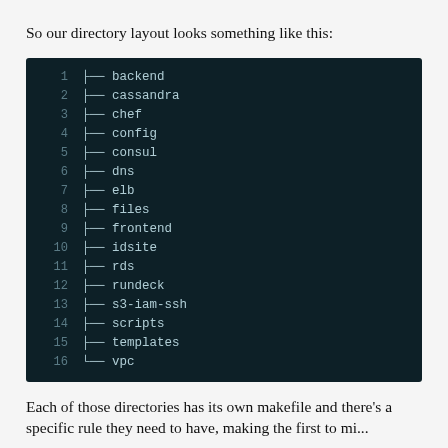So our directory layout looks something like this:
[Figure (screenshot): A dark terminal/code block showing a directory tree listing with line numbers 1-16, listing folders: backend, cassandra, chef, config, consul, dns, elb, files, frontend, idsite, rds, rundeck, s3-iam-ssh, scripts, templates, vpc]
Each of those directories has its own makefile and there’s a specific rule they need to have, making the first to mi...